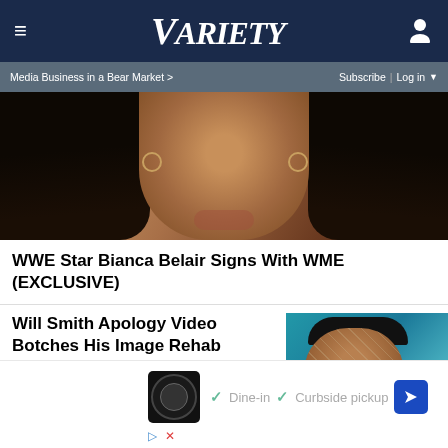Variety
Media Business in a Bear Market >
Subscribe | Log in
[Figure (photo): Close-up portrait of a Black woman with long dark hair and hoop earrings]
WWE Star Bianca Belair Signs With WME (EXCLUSIVE)
Will Smith Apology Video Botches His Image Rehab
[Figure (photo): Will Smith holding an Oscar award against a teal background, with cracked face effect]
[Figure (photo): Advertisement with restaurant logo showing Dine-in and Curbside pickup options]